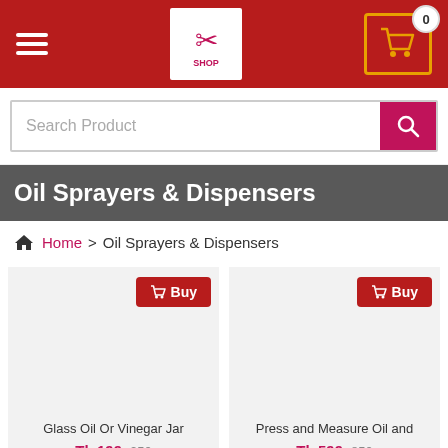[Figure (screenshot): E-commerce website header with hamburger menu icon on left, store logo in center, and shopping cart icon with badge showing 0 on right, all on red background]
[Figure (screenshot): Search bar with placeholder text 'Search Product' and pink search button]
Oil Sprayers & Dispensers
Home > Oil Sprayers & Dispensers
[Figure (screenshot): Product card for 'Glass Oil Or Vinegar Jar' with Buy button, price Tk 199 crossed out 250]
[Figure (screenshot): Product card for 'Press and Measure Oil and' with Buy button, price Tk 599 crossed out 850]